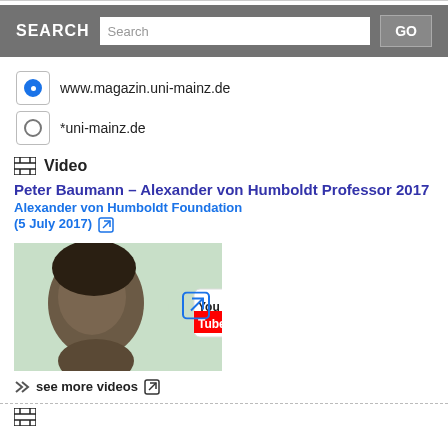[Figure (screenshot): Search bar with label SEARCH, input field showing 'Search', and GO button on dark gray background]
www.magazin.uni-mainz.de
*uni-mainz.de
Video
Peter Baumann – Alexander von Humboldt Professor 2017
Alexander von Humboldt Foundation
(5 July 2017)
[Figure (screenshot): YouTube video thumbnail showing Peter Baumann with YouTube logo overlay and PETER BAUMANN BIOLOGY text, with external link icon]
see more videos
[Figure (other): Film/video icon at bottom]